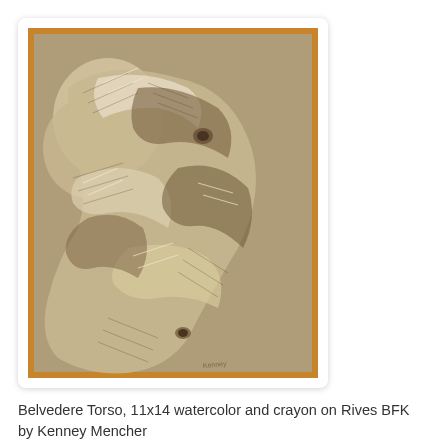[Figure (illustration): A detailed watercolor and crayon drawing of the Belvedere Torso — a muscular torso depicted from a close-up angle, rendered with hatching strokes in brown/sepia tones on a warm beige background, with orange border visible at the edges of the paper.]
Belvedere Torso, 11x14 watercolor and crayon on Rives BFK by Kenney Mencher